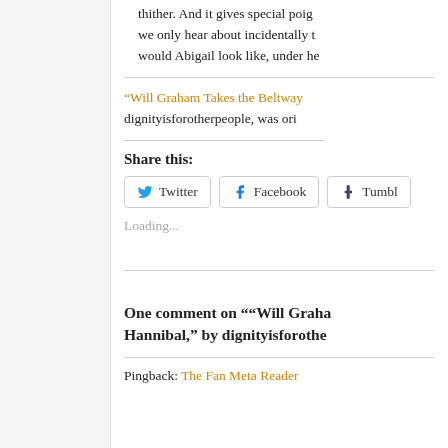thither. And it gives special poig we only hear about incidentally t would Abigail look like, under he
“Will Graham Takes the Beltway dignityisforotherpeople, was ori
Share this:
Twitter  Facebook  Tumbl
Loading...
One comment on "“Will Graha Hannibal,” by dignityisforothe
Pingback: The Fan Meta Reader